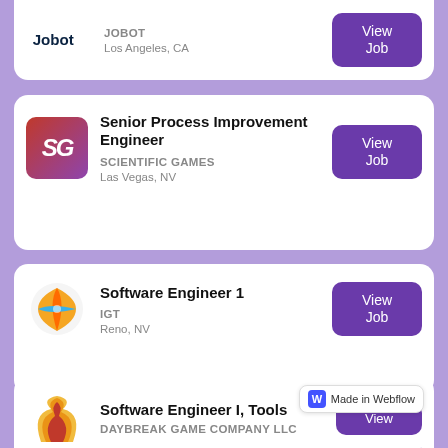JOBOT — Los Angeles, CA — View Job
Senior Process Improvement Engineer — SCIENTIFIC GAMES — Las Vegas, NV — View Job
Software Engineer 1 — IGT — Reno, NV — View Job
Associate Tools Engineer, Contract to Hire — PLAYSTATION — San Diego, CA — View Job
Software Engineer I, Tools — DAYBREAK GAME COMPANY LLC — View